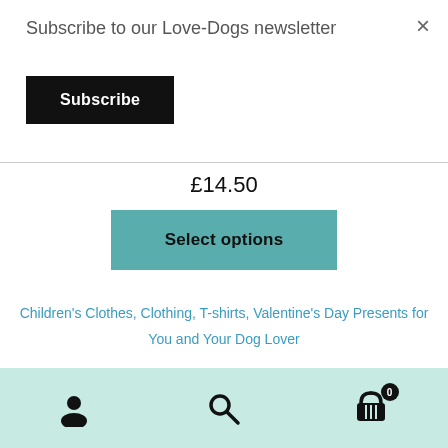Subscribe to our Love-Dogs newsletter
Subscribe
×
£14.50
Select options
Children's Clothes, Clothing, T-shirts, Valentine's Day Presents for You and Your Dog Lover
ℹ Love Dogs
Dismiss
[Figure (infographic): Bottom navigation bar with user/account icon, search icon, and shopping cart icon with badge showing 0]